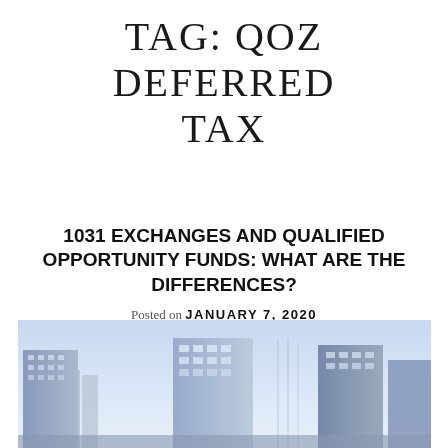TAG: QOZ DEFERRED TAX
1031 EXCHANGES AND QUALIFIED OPPORTUNITY FUNDS: WHAT ARE THE DIFFERENCES?
Posted on JANUARY 7, 2020
by BARNES WENDLING CPAS
[Figure (photo): City skyline with tall glass office buildings under a light blue/purple sky]